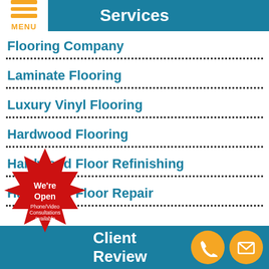Services
Flooring Company
Laminate Flooring
Luxury Vinyl Flooring
Hardwood Flooring
Hardwood Floor Refinishing
Hardwood Floor Repair
[Figure (illustration): Red starburst badge with text: We're Open Phone/Video Consultations Available]
Client Review